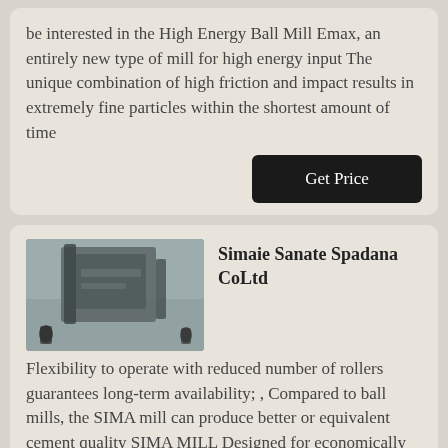be interested in the High Energy Ball Mill Emax, an entirely new type of mill for high energy input The unique combination of high friction and impact results in extremely fine particles within the shortest amount of time
Get Price
[Figure (photo): Thumbnail photo of industrial milling machinery with workers visible]
Simaie Sanate Spadana CoLtd
Flexibility to operate with reduced number of rollers guarantees long-term availability; , Compared to ball mills, the SIMA mill can produce better or equivalent cement quality SIMA MILL Designed for economically grinding a variety of cement typ
Get Price